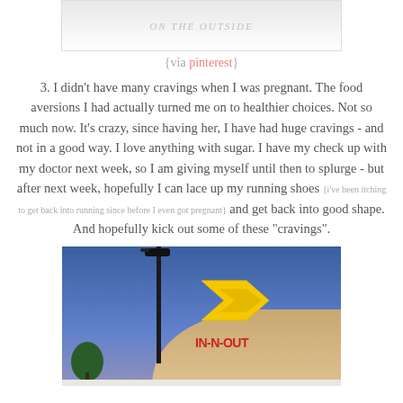[Figure (photo): Partial view of a white/light image at the top of the page, cropped, showing faint text on a light background]
{via pinterest}
3. I didn't have many cravings when I was pregnant.  The food aversions I had actually turned me on to healthier choices.  Not so much now.  It's crazy, since having her, I have had huge cravings - and not in a good way.  I love anything with sugar.  I have my check up with my doctor next week, so I am giving myself until then to splurge - but after next week, hopefully I can lace up my running shoes {i've been itching to get back into running since before I even got pregnant} and get back into good shape.  And hopefully kick out some of these "cravings".
[Figure (photo): Photo of an In-N-Out Burger restaurant exterior with blue sky, a street lamp, yellow arrow sign, and 'IN-N-OUT' red text on a tan building]